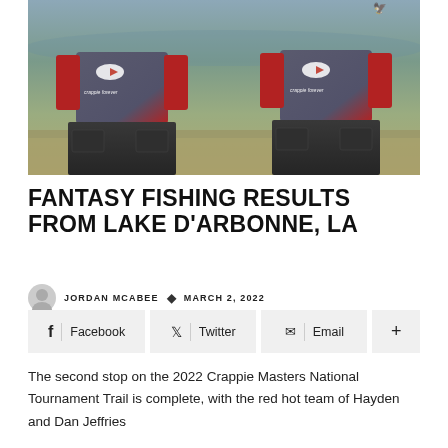[Figure (photo): Two anglers wearing gray and red 'crappie forever' fishing jerseys and dark cargo pants, standing outdoors near water with brown grass/shoreline visible in background.]
FANTASY FISHING RESULTS FROM LAKE D'ARBONNE, LA
JORDAN MCABEE • MARCH 2, 2022
f Facebook  Twitter  Email  +
The second stop on the 2022 Crappie Masters National Tournament Trail is complete, with the red hot team of Hayden and Dan Jeffries